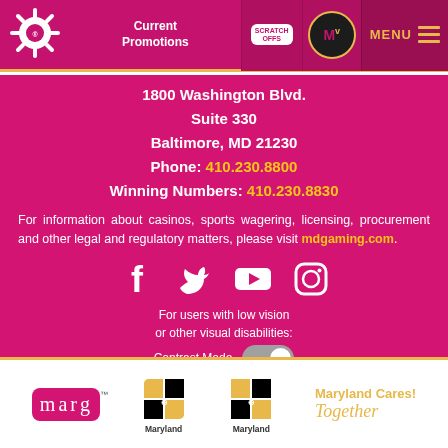Maryland Lottery — Current Promotions | SCRATCH OFFS | MY REWARDS | MENU
1800 Washington Blvd.
Suite 330
Baltimore, MD 21230
Phone: 410.230.8800
Winning Numbers: 410.230.8830
For information about casinos, sports wagering, licensing, procurement and other legal and regulatory matters, please visit mdgaming.com.
[Figure (infographic): Social media icons: Facebook, Twitter, YouTube, Instagram]
For users with low vision or other visual disabilities:
Contrast Mode [toggle off]
[Figure (logo): Footer logos: MARG logo, Maryland state logos, Maryland Cares! Together text]